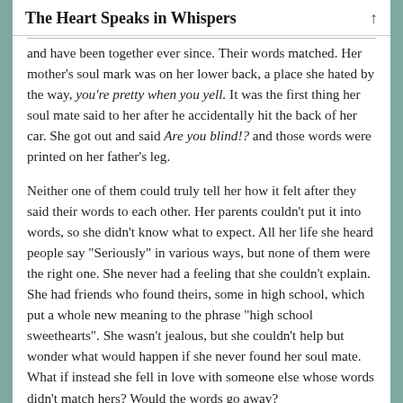The Heart Speaks in Whispers
and have been together ever since. Their words matched. Her mother's soul mark was on her lower back, a place she hated by the way, you're pretty when you yell. It was the first thing her soul mate said to her after he accidentally hit the back of her car. She got out and said Are you blind!? and those words were printed on her father's leg.
Neither one of them could truly tell her how it felt after they said their words to each other. Her parents couldn't put it into words, so she didn't know what to expect. All her life she heard people say "Seriously" in various ways, but none of them were the right one. She never had a feeling that she couldn't explain. She had friends who found theirs, some in high school, which put a whole new meaning to the phrase "high school sweethearts". She wasn't jealous, but she couldn't help but wonder what would happen if she never found her soul mate. What if instead she fell in love with someone else whose words didn't match hers? Would the words go away?
They didn't.